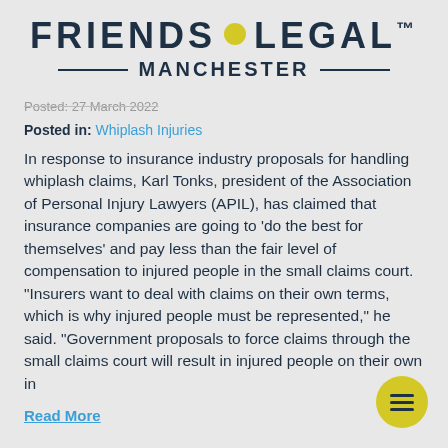[Figure (logo): Friends Legal Manchester logo with dark navy text, yellow dot, and MANCHESTER subtitle with horizontal rules]
Posted: 27 March 2022
Posted in: Whiplash Injuries
In response to insurance industry proposals for handling whiplash claims, Karl Tonks, president of the Association of Personal Injury Lawyers (APIL), has claimed that insurance companies are going to ‘do the best for themselves’ and pay less than the fair level of compensation to injured people in the small claims court. “Insurers want to deal with claims on their own terms, which is why injured people must be represented,” he said. “Government proposals to force claims through the small claims court will result in injured people on their own in
Read More